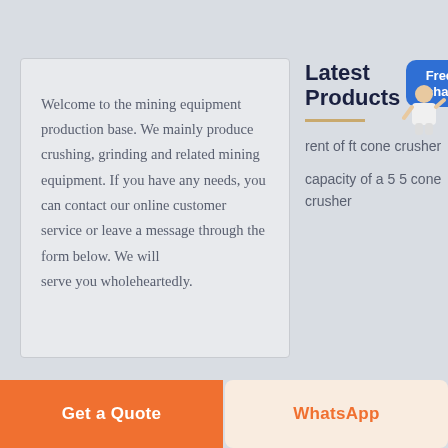Welcome to the mining equipment production base. We mainly produce crushing, grinding and related mining equipment. If you have any needs, you can contact our online customer service or leave a message through the form below. We will serve you wholeheartedly.
Latest Products
rent of ft cone crusher
capacity of a 5 5 cone crusher
Get a Quote
WhatsApp